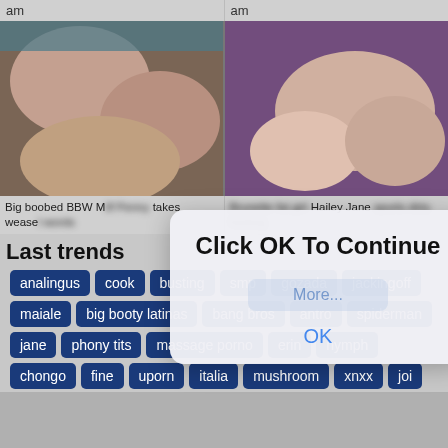am
am
[Figure (photo): Adult content image - left panel]
[Figure (photo): Adult content image - right panel]
Big boobed BBW Milf Penny takes weasel words
Brunette fat girl Hailey Jane spurts dirty fucking
Click OK To Continue
More... OK
Last trends
analingus
cook
busting
smp
gozada
jackingoff
maiale
big booty latinas
bang bros
antro
spiderman
jane
phony tits
massage porno
erin
nymph
chongo
fine
uporn
italia
mushroom
xnxx
joi